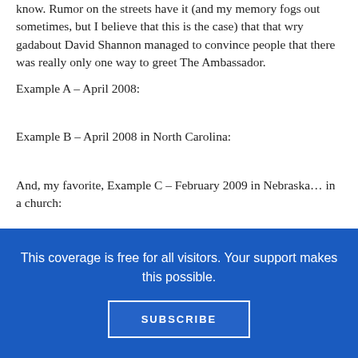know. Rumor on the streets have it (and my memory fogs out sometimes, but I believe that this is the case) that that wry gadabout David Shannon managed to convince people that there was really only one way to greet The Ambassador.
Example A – April 2008:
Example B – April 2008 in North Carolina:
And, my favorite, Example C – February 2009 in Nebraska… in a church:
Someday, when I grow up, I wanna be just like him.
In May of 2008 someone won the Booksense Book of the Year
This coverage is free for all visitors. Your support makes this possible.
SUBSCRIBE